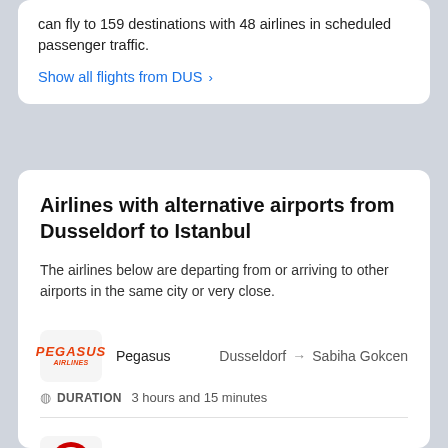can fly to 159 destinations with 48 airlines in scheduled passenger traffic.
Show all flights from DUS >
Airlines with alternative airports from Dusseldorf to Istanbul
The airlines below are departing from or arriving to other airports in the same city or very close.
Pegasus — Dusseldorf → Sabiha Gokcen — DURATION 3 hours and 15 minutes
Turkish Airlines STAR ALLIANCE — Dusseldorf → Sabiha Gokcen — DURATION 3 hours and 20 minutes
Show detailed flight schedule from DUS to SAW >